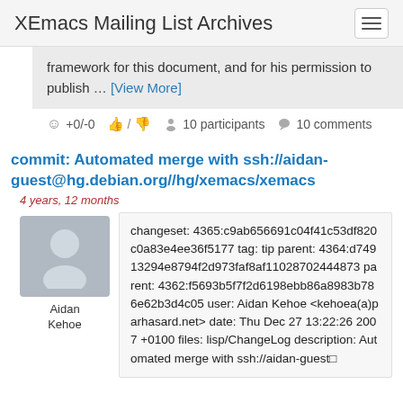XEmacs Mailing List Archives
framework for this document, and for his permission to publish … [View More]
+0/-0   / 
10 participants   10 comments
commit: Automated merge with ssh://aidan-guest@hg.debian.org//hg/xemacs/xemacs
4 years, 12 months
Aidan Kehoe
changeset: 4365:c9ab656691c04f41c53df820c0a83e4ee36f5177 tag: tip parent: 4364:d74913294e8794f2d973faf8af11028702444873 parent: 4362:f5693b5f7f2d6198ebb86a8983b786e62b3d4c05 user: Aidan Kehoe <kehoea(a)parhasard.net> date: Thu Dec 27 13:22:26 2007 +0100 files: lisp/ChangeLog description: Automated merge with ssh://aidan-guest□